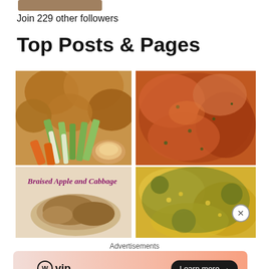Join 229 other followers
Top Posts & Pages
[Figure (photo): Four food photos in a 2x2 grid: top-left shows bread rolls and celery/carrot vegetables with dipping sauce; top-right shows saucy braised meat close-up; bottom-left shows a dish with text overlay reading 'Braised Apple and Cabbage'; bottom-right shows yellow and green textured food (possibly corn/greens).]
Advertisements
[Figure (logo): WordPress VIP logo and Learn more button on a peach/orange gradient banner]